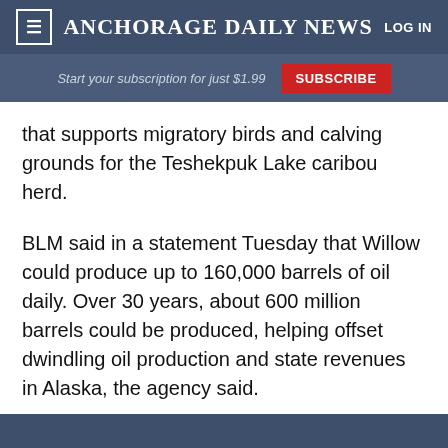≡  ANCHORAGE DAILY NEWS  LOG IN
Start your subscription for just $1.99  SUBSCRIBE
that supports migratory birds and calving grounds for the Teshekpuk Lake caribou herd.
BLM said in a statement Tuesday that Willow could produce up to 160,000 barrels of oil daily. Over 30 years, about 600 million barrels could be produced, helping offset dwindling oil production and state revenues in Alaska, the agency said.
Construction would produce more than 1,000 jobs and lead to more than 400 jobs during operation